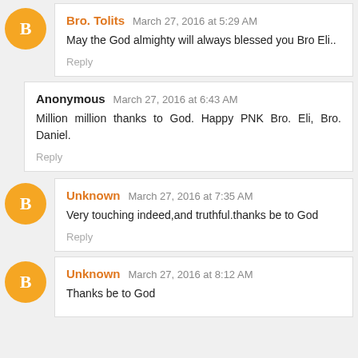Bro. Tolits March 27, 2016 at 5:29 AM
May the God almighty will always blessed you Bro Eli..
Reply
Anonymous March 27, 2016 at 6:43 AM
Million million thanks to God. Happy PNK Bro. Eli, Bro. Daniel.
Reply
Unknown March 27, 2016 at 7:35 AM
Very touching indeed,and truthful.thanks be to God
Reply
Unknown March 27, 2016 at 8:12 AM
Thanks be to God